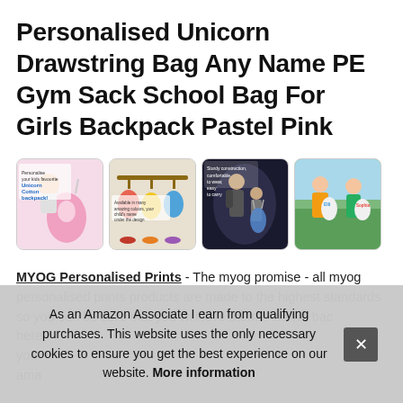Personalised Unicorn Drawstring Bag Any Name PE Gym Sack School Bag For Girls Backpack Pastel Pink
[Figure (photo): Four product thumbnail images of personalised unicorn drawstring bags. First shows a girl wearing a pink bag with unicorn design and text 'Personalise your kids favourite Unicorn Cotton backpack'. Second shows hanging bags on a rack with text overlay. Third shows a woman and child from behind with a blue drawstring bag. Fourth shows two children outdoors wearing personalised bags.]
MYOG Personalised Prints - The myog promise - all myog personalised prints products are made to the highest standards so you can be sure that you will love them! And we bac here you ama
As an Amazon Associate I earn from qualifying purchases. This website uses the only necessary cookies to ensure you get the best experience on our website. More information